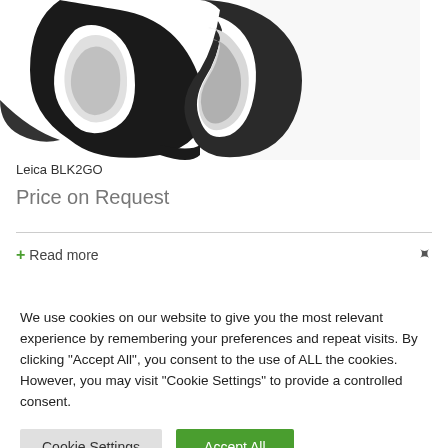[Figure (photo): Close-up photo of a black Leica BLK2GO device handle/grip, showing curved metallic/plastic surfaces in black and white tones]
Leica BLK2GO
Price on Request
+ Read more
We use cookies on our website to give you the most relevant experience by remembering your preferences and repeat visits. By clicking "Accept All", you consent to the use of ALL the cookies. However, you may visit "Cookie Settings" to provide a controlled consent.
Cookie Settings
Accept All